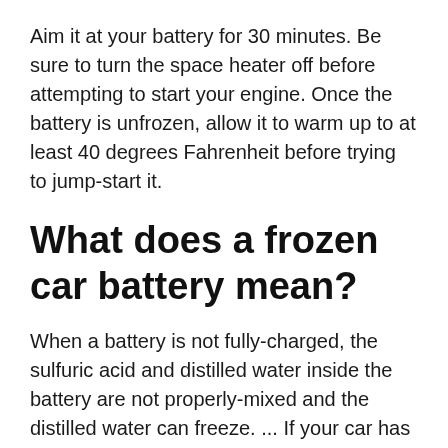Aim it at your battery for 30 minutes. Be sure to turn the space heater off before attempting to start your engine. Once the battery is unfrozen, allow it to warm up to at least 40 degrees Fahrenheit before trying to jump-start it.
What does a frozen car battery mean?
When a battery is not fully-charged, the sulfuric acid and distilled water inside the battery are not properly-mixed and the distilled water can freeze. ... If your car has sat in very cold temperatures for an extended period of time and won't even turn on dashboard lights, your battery may be